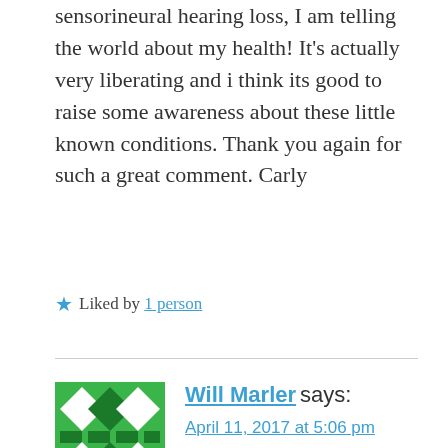sensorineural hearing loss, I am telling the world about my health! It's actually very liberating and i think its good to raise some awareness about these little known conditions. Thank you again for such a great comment. Carly
★ Liked by 1 person
Will Marler says:
April 11, 2017 at 5:06 pm
My heart goes out to you because my father
[Figure (other): Close/dismiss button (circled X)]
Advertisements
[Figure (other): WordPress advertisement banner: 'Create immersive stories.' with GET THE APP button and WordPress logo]